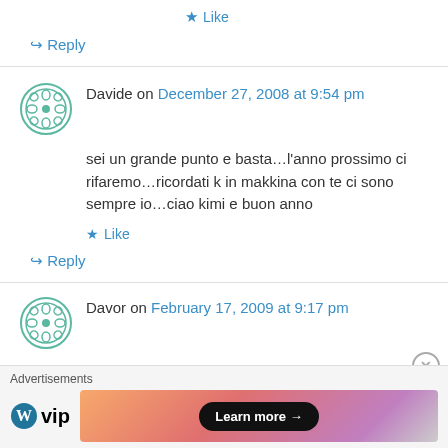★ Like
↪ Reply
Davide on December 27, 2008 at 9:54 pm
sei un grande punto e basta…l'anno prossimo ci rifaremo…ricordati k in makkina con te ci sono sempre io…ciao kimi e buon anno
★ Like
↪ Reply
Davor on February 17, 2009 at 9:17 pm
Advertisements
[Figure (screenshot): WordPress VIP advertisement banner with Learn more button]